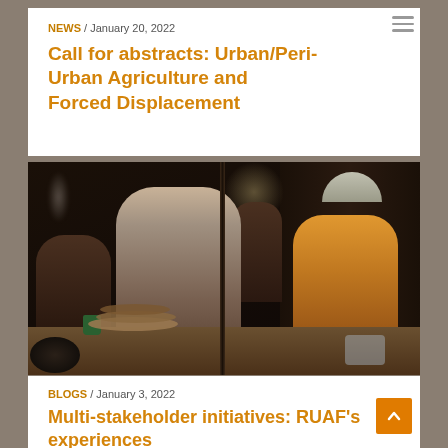NEWS / January 20, 2022
Call for abstracts: Urban/Peri-Urban Agriculture and Forced Displacement
[Figure (photo): Market scene with people preparing and selling food, including flatbreads on a table with a green mug. The scene is dimly lit indoors with steam visible.]
BLOGS / January 3, 2022
Multi-stakeholder initiatives: RUAF's experiences